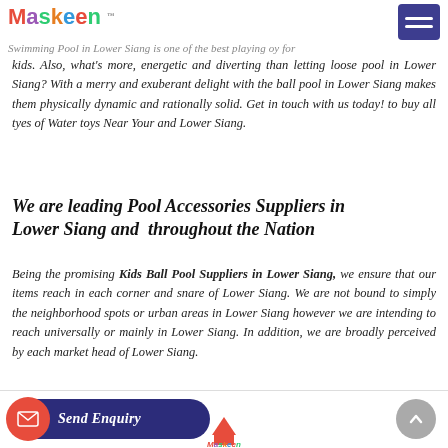Maskeen
Swimming Pool in Lower Siang is one of the best playing oy for kids. Also, what's more, energetic and diverting than letting loose pool in Lower Siang? With a merry and exuberant delight with the ball pool in Lower Siang makes them physically dynamic and rationally solid. Get in touch with us today! to buy all tyes of Water toys Near Your and Lower Siang.
We are leading Pool Accessories Suppliers in Lower Siang and  throughout the Nation
Being the promising Kids Ball Pool Suppliers in Lower Siang, we ensure that our items reach in each corner and snare of Lower Siang. We are not bound to simply the neighborhood spots or urban areas in Lower Siang however we are intending to reach universally or mainly in Lower Siang. In addition, we are broadly perceived by each market head of Lower Siang.
[Figure (logo): Maskeen logo at bottom of page, partially visible]